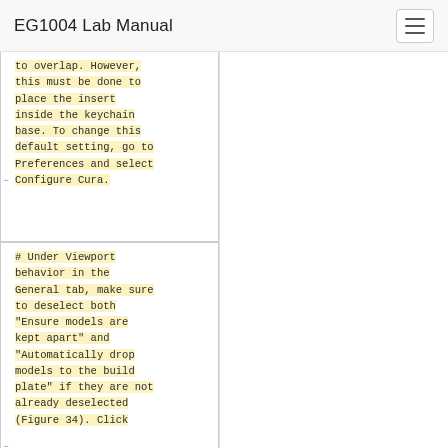EG1004 Lab Manual
to overlap. However, this must be done to place the insert inside the keychain base. To change this default setting, go to Preferences and select Configure Cura.
# Under Viewport behavior in the General tab, make sure to deselect both “Ensure models are kept apart” and “Automatically drop models to the build plate” if they are not already deselected (Figure 34). Click